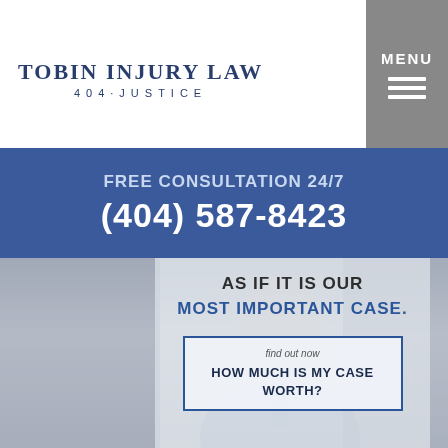TOBIN INJURY LAW 404·JUSTICE
FREE CONSULTATION 24/7 (404) 587-8423
[Figure (photo): Smiling male attorney in suit, full hero photo on law firm website]
AS IF IT IS OUR MOST IMPORTANT CASE.
find out now HOW MUCH IS MY CASE WORTH?